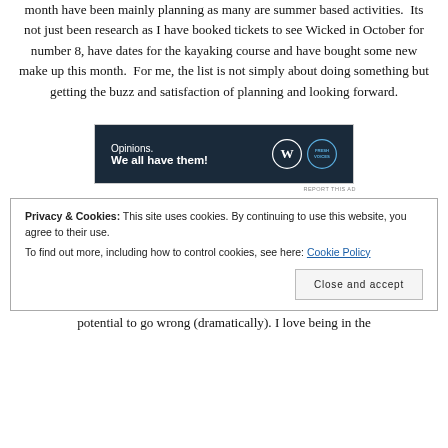month have been mainly planning as many are summer based activities.  Its not just been research as I have booked tickets to see Wicked in October for number 8, have dates for the kayaking course and have bought some new make up this month.  For me, the list is not simply about doing something but getting the buzz and satisfaction of planning and looking forward.
[Figure (other): Advertisement banner with dark navy background. Text reads 'Opinions. We all have them!' with WordPress logo and Fresh Voices logo on the right.]
REPORT THIS AD
Privacy & Cookies: This site uses cookies. By continuing to use this website, you agree to their use.
To find out more, including how to control cookies, see here: Cookie Policy
potential to go wrong (dramatically). I love being in the